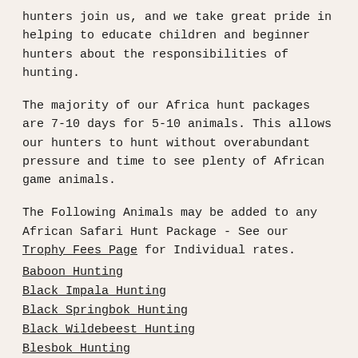hunters join us, and we take great pride in helping to educate children and beginner hunters about the responsibilities of hunting.
The majority of our Africa hunt packages are 7-10 days for 5-10 animals. This allows our hunters to hunt without overabundant pressure and time to see plenty of African game animals.
The Following Animals may be added to any African Safari Hunt Package - See our Trophy Fees Page for Individual rates.
Baboon Hunting
Black Impala Hunting
Black Springbok Hunting
Black Wildebeest Hunting
Blesbok Hunting
Blue Duiker Hunting
Blue Wildebeest Hunting